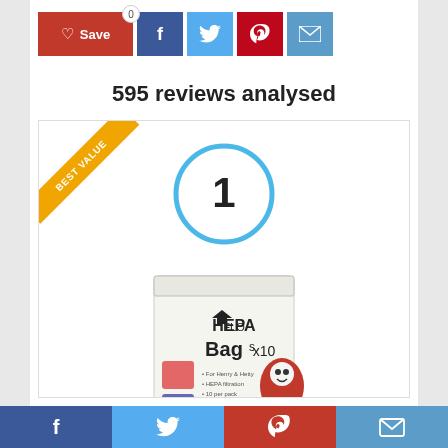[Figure (other): Social sharing bar with Save button (red), Facebook (blue), Twitter (light blue), Pinterest (red), Email (blue) icons]
595 reviews analysed
[Figure (other): Product card ranked #1 with Best Value ribbon, showing a box of HEPA-FLO Bags x10 for Henry vacuum cleaners]
[Figure (other): Bottom social sharing bar with Facebook, Twitter, Pinterest, Email icons]